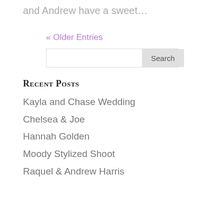and Andrew have a sweet…
« Older Entries
Search
Recent Posts
Kayla and Chase Wedding
Chelsea & Joe
Hannah Golden
Moody Stylized Shoot
Raquel & Andrew Harris